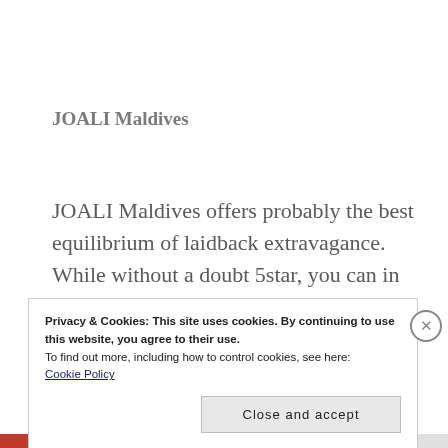JOALI Maldives
JOALI Maldives offers probably the best equilibrium of laidback extravagance. While without a doubt 5star, you can in any case start off your shoes and relax on this private island heaven. To investigate, your
Privacy & Cookies: This site uses cookies. By continuing to use this website, you agree to their use.
To find out more, including how to control cookies, see here:
Cookie Policy

Close and accept